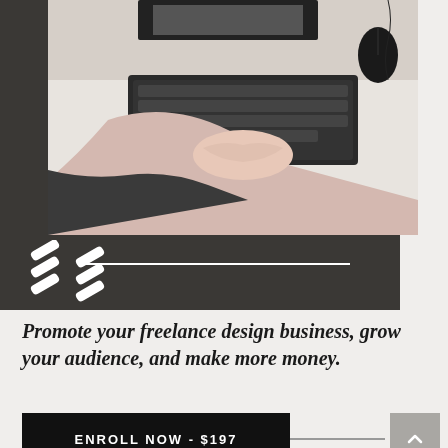[Figure (photo): A woman with blonde hair wearing a light pink top, sitting at a white desk, typing on a black keyboard. A computer monitor and mouse are visible on the desk. Dark decorative background block with white dashes and a horizontal white line overlay.]
Promote your freelance design business, grow your audience, and make more money.
ENROLL NOW - $197